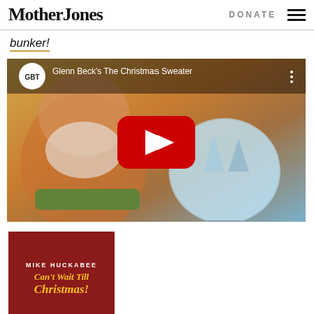Mother Jones | DONATE
bunker!
[Figure (screenshot): YouTube video embed showing 'Glenn Beck's The Christmas Sweater' with GBT logo, a YouTube play button, and thumbnail showing an elderly man holding a snow globe with a winter scene.]
[Figure (photo): Book cover: Mike Huckabee - Can't Wait Till Christmas, red background with gold/yellow italic text]